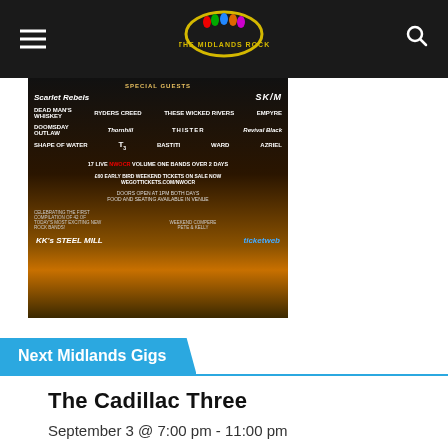The Midlands Rock
[Figure (photo): Concert/festival promotional poster for NWOCR Volume One event at KK's Steel Mill, featuring multiple band names including Scarlet Rebels, SK/M, Dead Man's Whiskey, Ryders Creed, These Wicked Rivers, Empyre, Doomsday Outlaw, Thister, Revival Black, Shape of Water, Ward, Azriel and others. Shows crowd at concert with stage lighting. Text: SPECIAL GUESTS, 17 LIVE NWOCR VOLUME ONE BANDS OVER 2 DAYS, £60 EARLY BIRD WEEKEND TICKETS ON SALE NOW WEGOTTICKETS.COM/NWOCR, DOORS OPEN AT 1PM BOTH DAYS, FOOD AND SEATING AVAILABLE IN VENUE. Logos: KK's Steel Mill, ticketweb. WEEKEND COMPERE PETE & KELLY.]
Next Midlands Gigs
The Cadillac Three
September 3 @ 7:00 pm - 11:00 pm